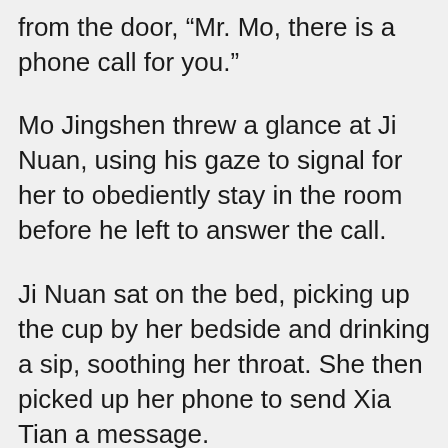from the door, “Mr. Mo, there is a phone call for you.”
Mo Jingshen threw a glance at Ji Nuan, using his gaze to signal for her to obediently stay in the room before he left to answer the call.
Ji Nuan sat on the bed, picking up the cup by her bedside and drinking a sip, soothing her throat. She then picked up her phone to send Xia Tian a message.
Yesterday, she had promised Xia Tian she would visit her today at the hospital. But with her condition, Mo Jingshen most definitely would not allow her to leave and experience the wind outside.